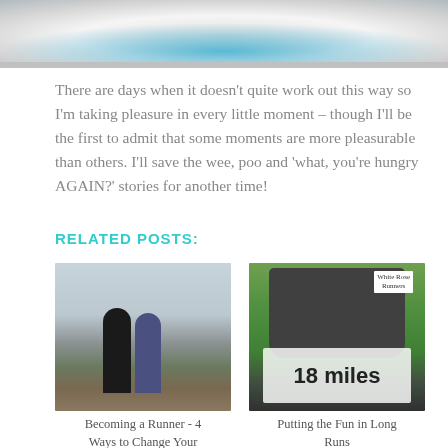[Figure (photo): Partial view of a running shoe sole from below, showing blue and white details, cropped at top of page]
There are days when it doesn't quite work out this way so I'm taking pleasure in every little moment – though I'll be the first to admit that some moments are more pleasurable than others. I'll save the wee, poo and 'what, you're hungry AGAIN?' stories for another time!
RELATED POSTS:
[Figure (photo): Two women running from behind on a road, wearing athletic gear, overcast sky in background]
Becoming a Runner - 4 Ways to Change Your
[Figure (photo): A bucket/container with a sign reading '18 miles' and a White Rose Runners label, set in green grass]
Putting the Fun in Long Runs